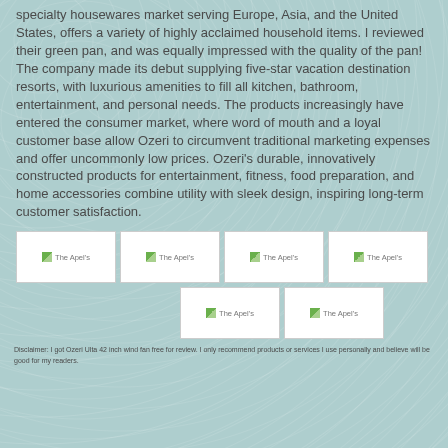specialty housewares market serving Europe, Asia, and the United States, offers a variety of highly acclaimed household items. I reviewed their green pan, and was equally impressed with the quality of the pan! The company made its debut supplying five-star vacation destination resorts, with luxurious amenities to fill all kitchen, bathroom, entertainment, and personal needs. The products increasingly have entered the consumer market, where word of mouth and a loyal customer base allow Ozeri to circumvent traditional marketing expenses and offer uncommonly low prices. Ozeri's durable, innovatively constructed products for entertainment, fitness, food preparation, and home accessories combine utility with sleek design, inspiring long-term customer satisfaction.
[Figure (photo): Row of four image placeholders labeled 'The Apel's']
[Figure (photo): Row of two image placeholders labeled 'The Apel's']
Disclaimer: I got Ozeri Ulta 42 inch wind fan free for review. I only recommend products or services I use personally and believe will be good for my readers.